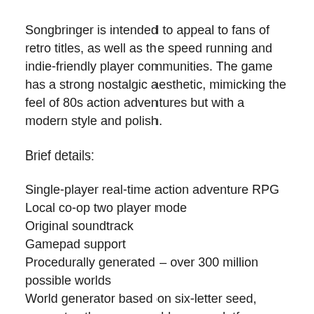Songbringer is intended to appeal to fans of retro titles, as well as the speed running and indie-friendly player communities. The game has a strong nostalgic aesthetic, mimicking the feel of 80s action adventures but with a modern style and polish.
Brief details:
Single-player real-time action adventure RPG
Local co-op two player mode
Original soundtrack
Gamepad support
Procedurally generated – over 300 million possible worlds
World generator based on six-letter seed, generates the same world on any platform
1 overworld, 9 dungeons and bosses, 30+ combinable items and hundreds of secrets
ICraft items using combinations, for example: teleport orb + fire cube = fire teleport
Roguelike-inspired permadeath option with extra rewards for...